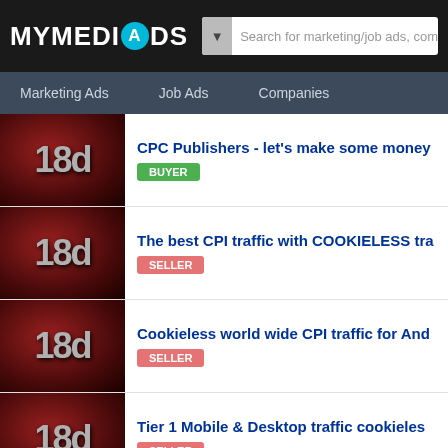MYMEDIADS - Search for marketing/job ads, companies
Marketing Ads  Job Ads  Companies
CPC Publishers - let's make some money [BUYER] 18d
The best CPI traffic with COOKIELESS tra... [SELLER] 18d
Cookieless world wide CPI traffic for And... [SELLER] 18d
Tier 1 Mobile & Desktop traffic cookieles... [SELLER] 18d
MYMEDIADS